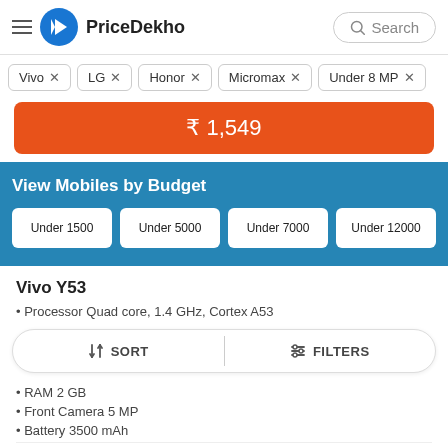PriceDekho
Vivo ×
LG ×
Honor ×
Micromax ×
Under 8 MP ×
₹ 1,549
View Mobiles by Budget
Under 1500
Under 5000
Under 7000
Under 12000
Vivo Y53
• Processor Quad core, 1.4 GHz, Cortex A53
SORT   FILTERS
• RAM 2 GB
• Front Camera 5 MP
• Battery 3500 mAh